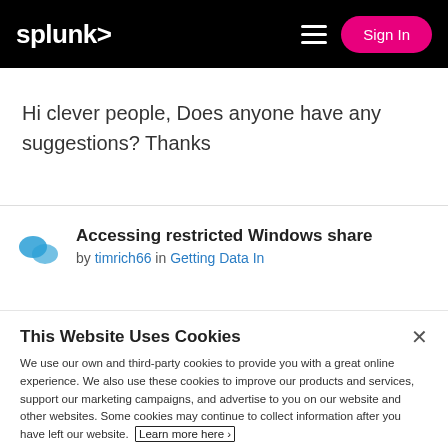splunk> Sign In
Hi clever people, Does anyone have any suggestions? Thanks
Accessing restricted Windows share by timrich66 in Getting Data In
This Website Uses Cookies
We use our own and third-party cookies to provide you with a great online experience. We also use these cookies to improve our products and services, support our marketing campaigns, and advertise to you on our website and other websites. Some cookies may continue to collect information after you have left our website. Learn more here ›
Accept Cookies   Cookies Settings ›